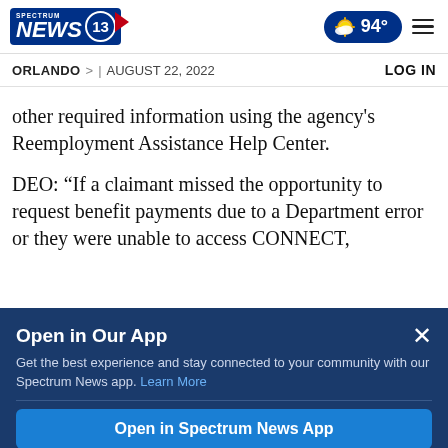Spectrum News 13 | 94° | Orlando | August 22, 2022 | LOG IN
other required information using the agency's Reemployment Assistance Help Center.
DEO: “If a claimant missed the opportunity to request benefit payments due to a Department error or they were unable to access CONNECT,
Open in Our App
Get the best experience and stay connected to your community with our Spectrum News app. Learn More
Open in Spectrum News App
Continue in Browser